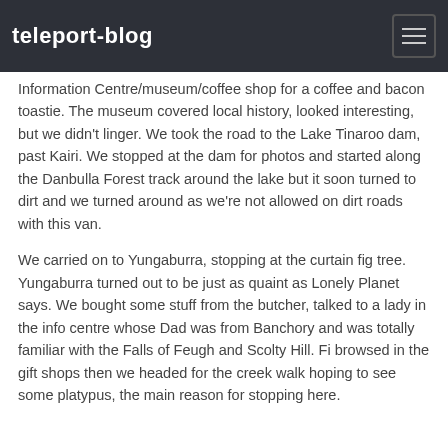teleport-blog
Information Centre/museum/coffee shop for a coffee and bacon toastie. The museum covered local history, looked interesting, but we didn't linger. We took the road to the Lake Tinaroo dam, past Kairi. We stopped at the dam for photos and started along the Danbulla Forest track around the lake but it soon turned to dirt and we turned around as we're not allowed on dirt roads with this van.
We carried on to Yungaburra, stopping at the curtain fig tree. Yungaburra turned out to be just as quaint as Lonely Planet says. We bought some stuff from the butcher, talked to a lady in the info centre whose Dad was from Banchory and was totally familiar with the Falls of Feugh and Scolty Hill. Fi browsed in the gift shops then we headed for the creek walk hoping to see some platypus, the main reason for stopping here.